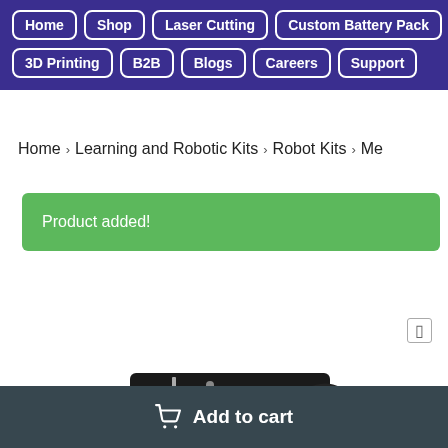Home | Shop | Laser Cutting | Custom Battery Pack | 3D Printing | B2B | Blogs | Careers | Support
Home > Learning and Robotic Kits > Robot Kits > Me
Product added!
[Figure (photo): Robotic kit chassis with wheels and motors, viewed from above at an angle, on a white background]
Add to cart